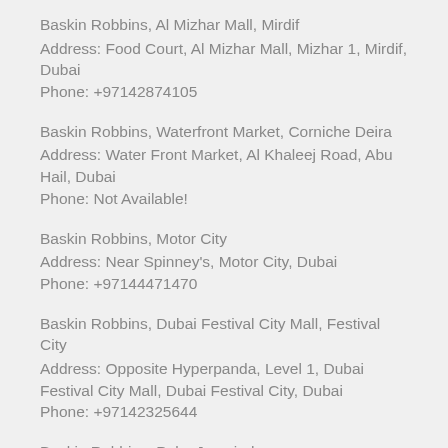Baskin Robbins, Al Mizhar Mall, Mirdif
Address: Food Court, Al Mizhar Mall, Mizhar 1, Mirdif, Dubai
Phone: +97142874105
Baskin Robbins, Waterfront Market, Corniche Deira
Address: Water Front Market, Al Khaleej Road, Abu Hail, Dubai
Phone: Not Available!
Baskin Robbins, Motor City
Address: Near Spinney's, Motor City, Dubai
Phone: +97144471470
Baskin Robbins, Dubai Festival City Mall, Festival City
Address: Opposite Hyperpanda, Level 1, Dubai Festival City Mall, Dubai Festival City, Dubai
Phone: +97142325644
Baskin Robbins, Palm Jumeirah
Address: Building 7, Gollden Mile 2, Palm Jumeirah, Dubai
Phone: +97145144664
Baskin Robbins, City Centre Me'aisem, IMPZ
Address: Ground Level, City Centre Me'aisem, Al Fay Road,